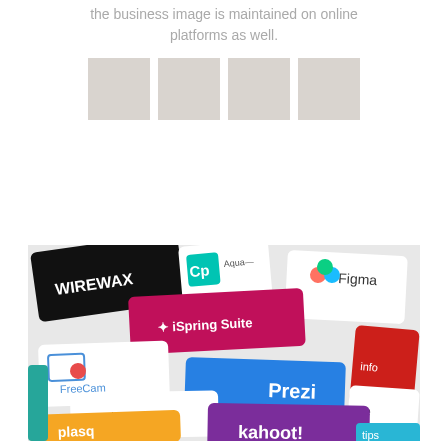the business image is maintained on online platforms as well.
[Figure (illustration): Four gray placeholder image boxes arranged in a row]
[Figure (photo): Photo of various software brand cards/logos including WIREWAX, Adobe Capture (Cp), Figma, iSpring Suite, FreeCam, Prezi, articulate, info, Kahoot!, plasq, and others arranged in a flat lay perspective]